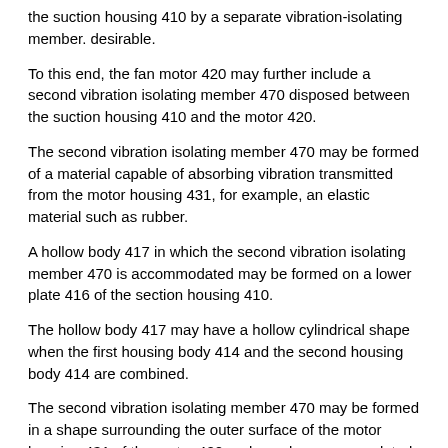the suction housing 410 by a separate vibration-isolating member. desirable.
To this end, the fan motor 420 may further include a second vibration isolating member 470 disposed between the suction housing 410 and the motor 420.
The second vibration isolating member 470 may be formed of a material capable of absorbing vibration transmitted from the motor housing 431, for example, an elastic material such as rubber.
A hollow body 417 in which the second vibration isolating member 470 is accommodated may be formed on a lower plate 416 of the section housing 410.
The hollow body 417 may have a hollow cylindrical shape when the first housing body 414 and the second housing body 414 are combined.
The second vibration isolating member 470 may be formed in a shape surrounding the outer surface of the motor housing 431 of the motor 420 and may be accommodated in the hollow body 417.